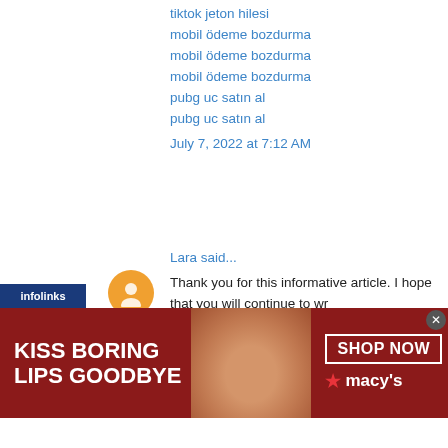tiktok jeton hilesi
mobil ödeme bozdurma
mobil ödeme bozdurma
mobil ödeme bozdurma
pubg uc satın al
pubg uc satın al
July 7, 2022 at 7:12 AM
Lara said...
Thank you for this informative article. I hope that you will continue to write for us. I will definitely bookmark your website. e visa to India is a way to your visa online in your updated email. Id.
July 16, 2022 at 8:09 AM
prokeyspc said...
Good work done by your self .. i really appreciate your work and effort and will continue this effort.
[Figure (screenshot): Infolinks advertisement bar overlay at bottom left]